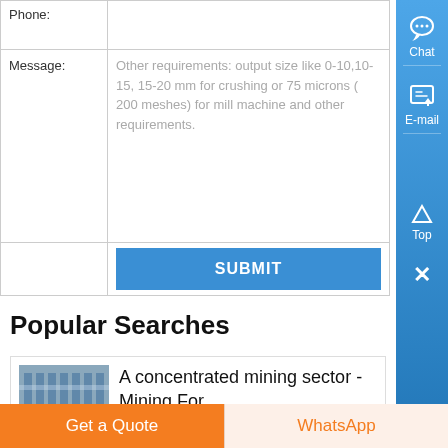| Field | Input |
| --- | --- |
| Phone: |  |
| Message: | Other requirements: output size like 0-10,10-15, 15-20 mm for crushing or 75 microns ( 200 meshes) for mill machine and other requirements. |
|  | SUBMIT |
Popular Searches
A concentrated mining sector - Mining For
Get a Quote
WhatsApp